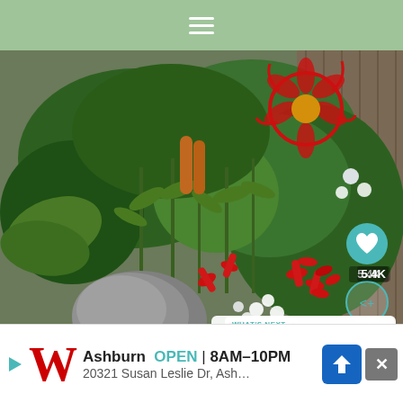≡
[Figure (photo): Garden scene with lush green foliage, red tubular flowers (possibly Crocosmia or kniphofia buds), white flowers, a large grey rock, red metal flower wall art on wooden fence background, and various flowering plants in a mixed border planting.]
5.4K
WHAT'S NEXT → Summer Home Tour 2016
Ashburn  OPEN  8AM–10PM
20321 Susan Leslie Dr, Ash…